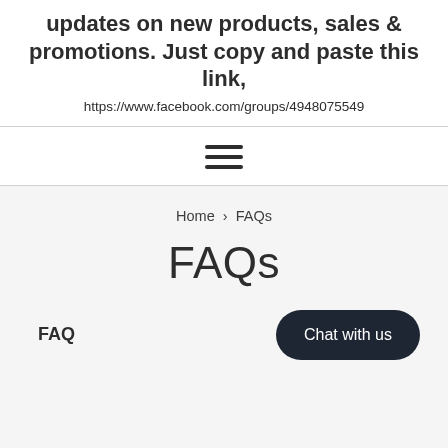updates on new products, sales & promotions. Just copy and paste this link,
https://www.facebook.com/groups/4948075549
[Figure (other): Hamburger menu icon — three horizontal lines stacked vertically, centered on a white background]
Home › FAQs
FAQs
FAQ
Chat with us